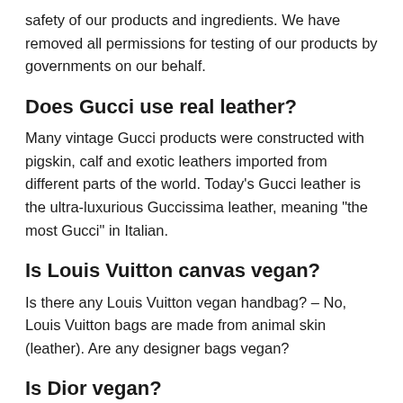safety of our products and ingredients. We have removed all permissions for testing of our products by governments on our behalf.
Does Gucci use real leather?
Many vintage Gucci products were constructed with pigskin, calf and exotic leathers imported from different parts of the world. Today’s Gucci leather is the ultra-luxurious Guccissima leather, meaning “the most Gucci” in Italian.
Is Louis Vuitton canvas vegan?
Is there any Louis Vuitton vegan handbag? – No, Louis Vuitton bags are made from animal skin (leather). Are any designer bags vegan?
Is Dior vegan?
Dior is not a brand that is vegan.
The brand currently uses animal-by-products and animal-